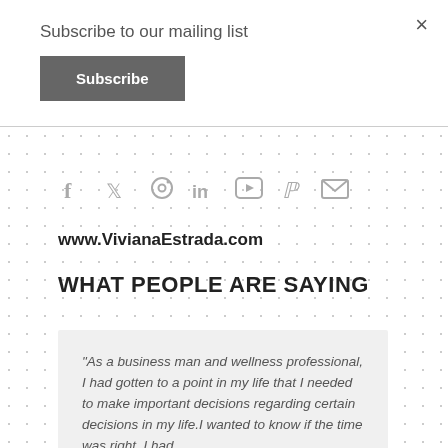Subscribe to our mailing list
Subscribe
×
[Figure (infographic): Social media icons row: Facebook, Twitter, Instagram, LinkedIn, YouTube, Pinterest, Email]
www.VivianaEstrada.com
WHAT PEOPLE ARE SAYING
"As a business man and wellness professional, I had gotten to a point in my life that I needed to make important decisions regarding certain decisions in my life. I wanted to know if the time was right, I had